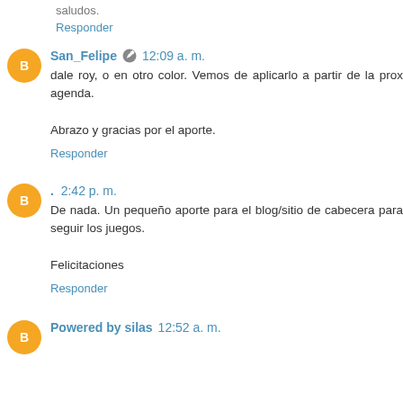Responder
San_Felipe  12:09 a. m.
dale roy, o en otro color. Vemos de aplicarlo a partir de la prox agenda.

Abrazo y gracias por el aporte.
Responder
. 2:42 p. m.
De nada. Un pequeño aporte para el blog/sitio de cabecera para seguir los juegos.

Felicitaciones
Responder
Powered by silas 12:52 a. m.